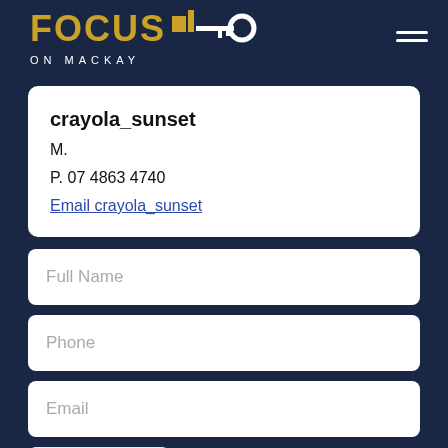[Figure (logo): Focus on Mackay real estate logo with key icon on dark navy background]
crayola_sunset
M.
P. 07 4863 4740
Email crayola_sunset
Full Name
Phone
Email
Call me back